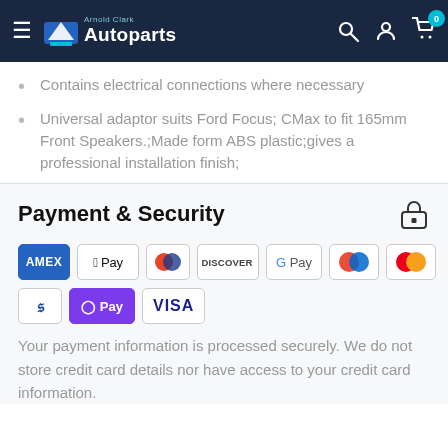Arnold Clark Autoparts
Contains electrical connections where necessary
Universal adaptor suits Ford Focus; CMax to fit 165mm Front Speakers.;Made form ABS plastic;gives a professional installation finish;
Payment & Security
[Figure (logo): Payment method logos: AMEX, Apple Pay, Diners Club, Discover, Google Pay, Maestro, Mastercard, PayPal, O Pay, VISA]
Your payment information is processed securely. We do not store credit card details nor have access to your credit card information.